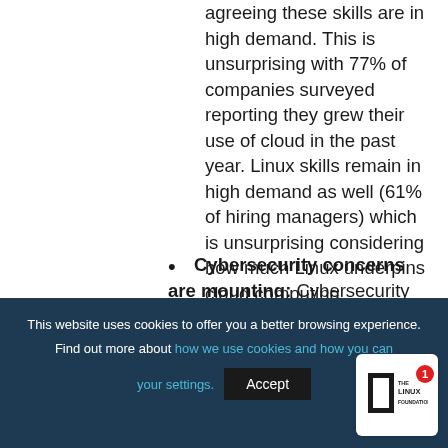agreeing these skills are in high demand. This is unsurprising with 77% of companies surveyed reporting they grew their use of cloud in the past year. Linux skills remain in high demand as well (61% of hiring managers) which is unsurprising considering how much Linux underpins cloud computing.
Cybersecurity concerns are mounting: Cybersecurity skills
This website uses cookies to offer you a better browsing experience. Find out more about how we use cookies and how you can change your settings.